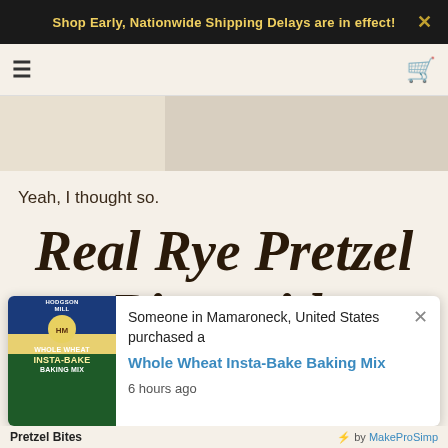Shop Early, Nationwide Shipping Delays are in effect!
Yeah, I thought so.
Real Rye Pretzel Bites with Cheddar-Bacon-Ale Di...
Someone in Mamaroneck, United States purchased a Whole Wheat Insta-Bake Baking Mix
6 hours ago
Pretzel Bites   ⚡ by MakeProSimp